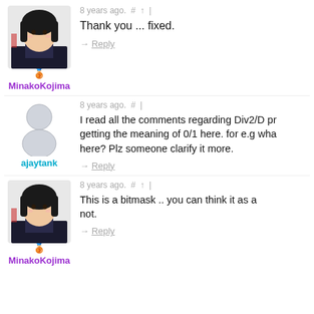8 years ago.  #  ↑  |
Thank you ... fixed.
→ Reply
MinakoKojima
8 years ago.  #  |
I read all the comments regarding Div2/D pr... getting the meaning of 0/1 here. for e.g wha... here? Plz someone clarify it more.
→ Reply
ajaytank
8 years ago.  #  ↑  |
This is a bitmask .. you can think it as a... not.
→ Reply
MinakoKojima